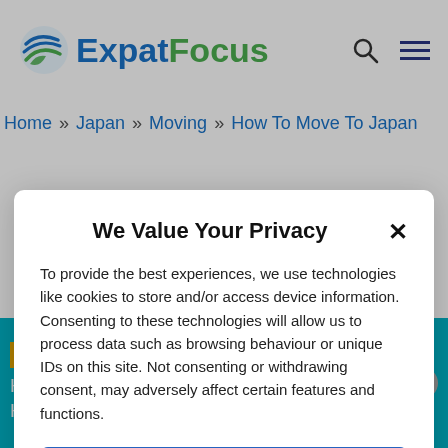[Figure (logo): ExpatFocus logo with blue and green swoosh icon and 'ExpatFocus' text in blue and green]
Home » Japan » Moving » How To Move To Japan
We Value Your Privacy
To provide the best experiences, we use technologies like cookies to store and/or access device information. Consenting to these technologies will allow us to process data such as browsing behaviour or unique IDs on this site. Not consenting or withdrawing consent, may adversely affect certain features and functions.
Accept
Cookie Policy   Privacy Statement
[Figure (infographic): Bottom banner with cyan background showing 'FREE VIDEO COURSE' label, 'How To Choose International Health Insurance' text, and 'SIGN UP NOW' orange button]